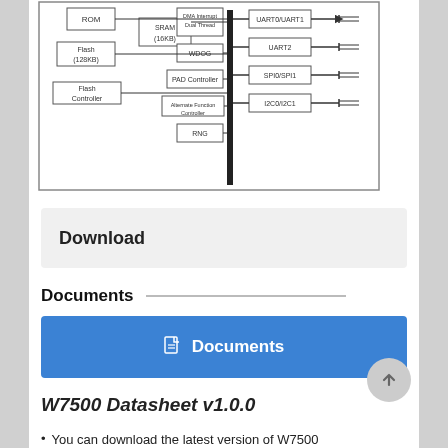[Figure (schematic): Block diagram of W7500 microcontroller showing ROM, Flash (128KB), Flash Controller, SRAM (16KB), DMA/Interrupt Dual Thread, WDOG, PAD Controller, Alternate Function Controller, RNG blocks connected via bus to UART0/UART1, UART2, SPI0/SPI1, I2C0/I2C1 peripherals]
Download
Documents
Documents
W7500 Datasheet v1.0.0
You can download the latest version of W7500